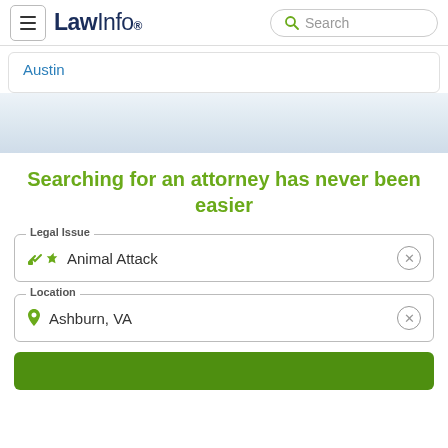LawInfo. Search
Austin
Searching for an attorney has never been easier
Legal Issue: Animal Attack
Location: Ashburn, VA